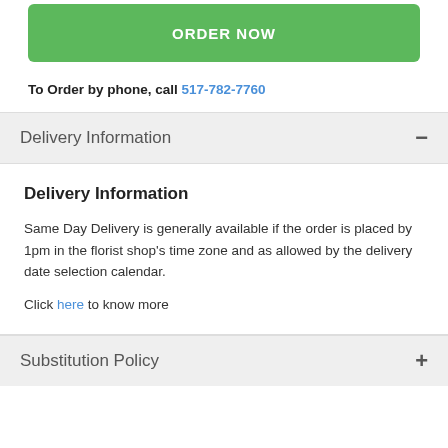[Figure (other): Green ORDER NOW button]
To Order by phone, call 517-782-7760
Delivery Information
Delivery Information
Same Day Delivery is generally available if the order is placed by 1pm in the florist shop's time zone and as allowed by the delivery date selection calendar.
Click here to know more
Substitution Policy